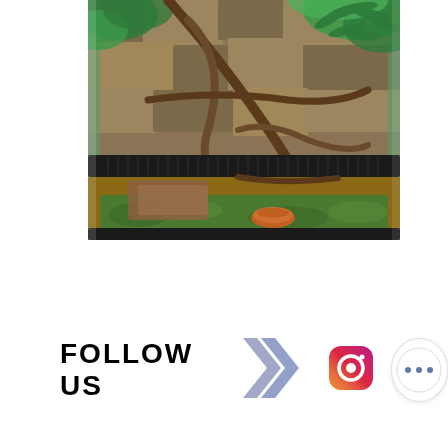[Figure (photo): A glass terrarium/vivarium with lush green plants, twisted wooden branches, a rock background, green moss substrate, a small orange water dish, and what appears to be a snake or lizard visible through the glass panels.]
FOLLOW US
[Figure (illustration): A blue/purple double chevron arrow pointing right, stylized graphic element.]
[Figure (logo): Instagram logo icon in gradient colors (pink/purple/orange).]
[Figure (other): A white circular button with three blue dots (more options / ellipsis button).]